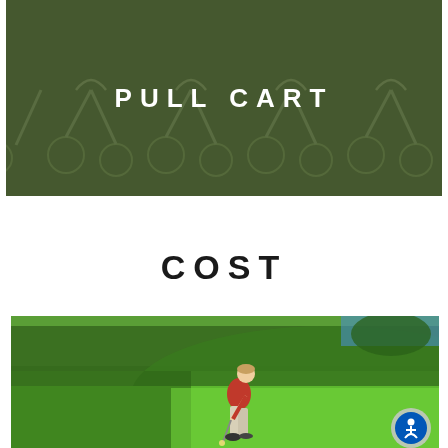[Figure (photo): Banner image showing pull carts (golf trolleys) arranged in rows, with dark olive/green background tint and white bold text 'PULL CART' centered over the image]
COST
[Figure (photo): Photograph of a golfer in a red shirt and light-colored pants putting on a bright green golf course, with trees and hillside in the background. An accessibility icon button is visible in the bottom-right corner.]